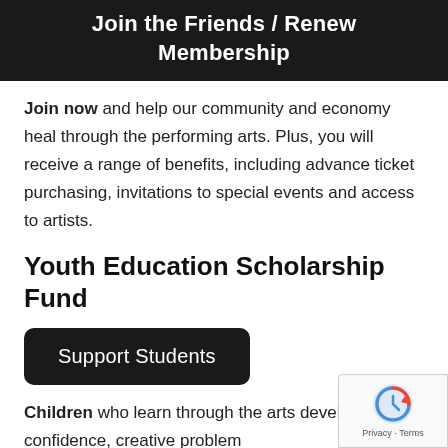Join the Friends / Renew Membership
Join now and help our community and economy heal through the performing arts. Plus, you will receive a range of benefits, including advance ticket purchasing, invitations to special events and access to artists.
Youth Education Scholarship Fund
[Figure (other): Black button labeled 'Support Students']
Children who learn through the arts develop self-confidence, creative problem